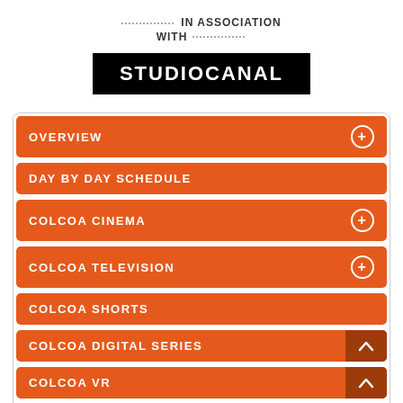IN ASSOCIATION WITH
[Figure (logo): STUDIOCANAL logo — white text on black background]
OVERVIEW
DAY BY DAY SCHEDULE
COLCOA CINEMA
COLCOA TELEVISION
COLCOA SHORTS
COLCOA DIGITAL SERIES
COLCOA VR
THE HAPPY HOUR TALKS
EXTENDED SUNDAY (New in 2018!)